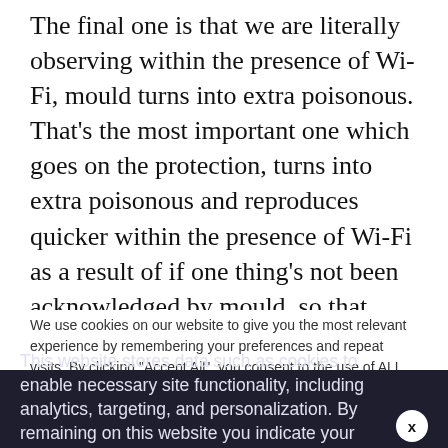The final one is that we are literally observing within the presence of Wi-Fi, mould turns into extra poisonous. That's the most important one which goes on the protection, turns into extra poisonous and reproduces quicker within the presence of Wi-Fi as a result of if one thing's not been acknowledged by mould, so that they'd stop it as a menace. And this has been noticed repeatedly, once more by environmental mould consultants. So, an enormous situation with why rapidly we've
We use cookies on our website to give you the most relevant experience by remembering your preferences and repeat visits. By clicking "Accept All", you consent to the use of ALL the cookies. However, you may visit "Cookie Settings" to provide a controlled consent.
This website stores data such as cookies to enable necessary site functionality, including analytics, targeting, and personalization. By remaining on this website you indicate your consent Cookie Policy